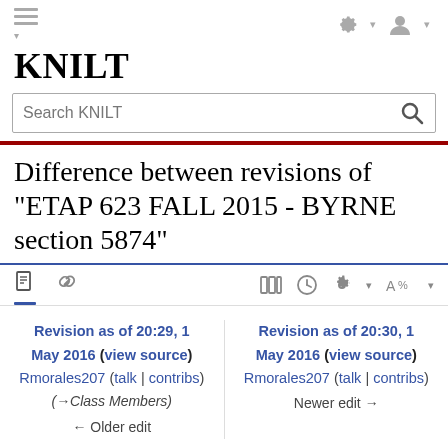KNILT
Difference between revisions of "ETAP 623 FALL 2015 - BYRNE section 5874"
Revision as of 20:29, 1 May 2016 (view source) Rmorales207 (talk | contribs) (→Class Members) ← Older edit
Revision as of 20:30, 1 May 2016 (view source) Rmorales207 (talk | contribs) Newer edit →